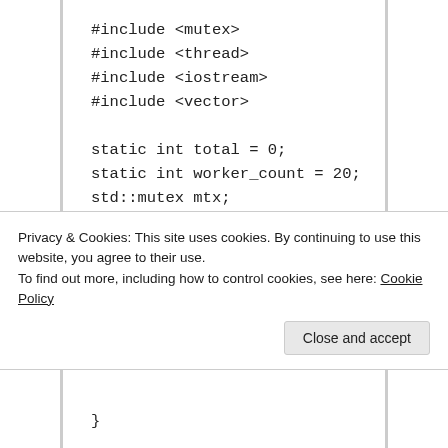#include <mutex>
#include <thread>
#include <iostream>
#include <vector>

static int total = 0;
static int worker_count = 20;
std::mutex mtx;

int main(){
    std::vector<std::thread> workers;
    workers.reserve(worker_count);
    for(int i = 0; i < worker_count; ++i){
        workers.emplace_back(std::thread([]
Privacy & Cookies: This site uses cookies. By continuing to use this website, you agree to their use.
To find out more, including how to control cookies, see here: Cookie Policy
Close and accept
}